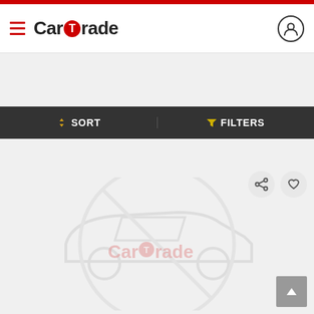[Figure (logo): CarTrade mobile app header with hamburger menu, CarTrade logo, and user profile icon]
SORT   FILTERS
90,990 KMS  |  Petrol  |  Rajkot
CHAT   CONTACT SELLER
[Figure (illustration): CarTrade placeholder image showing a car silhouette with a 'no image' cross overlay and CarTrade watermark text]